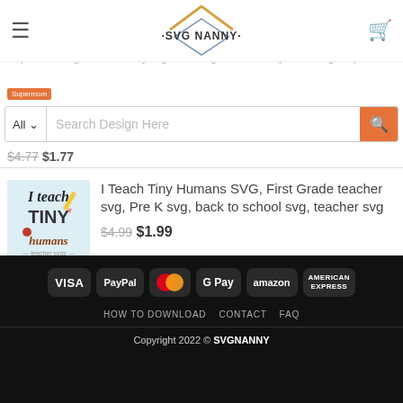SVG NANNY
$4.99  $1.99
Supermom svg, mother's day svg, Mom svg, mother's day number svg, Superhero svg, awesome
Supermom
$4.77  $1.77
I Teach Tiny Humans SVG, First Grade teacher svg, Pre K svg, back to school svg, teacher svg
$4.99  $1.99
Tiger face svg, wild cat SVG, cute tiger svg, Tiger SVG, wild animal SVG, tiger svg, Tiger face SVG
$4.99  $1.99
HOW TO DOWNLOAD  CONTACT  FAQ
Copyright 2022 © SVGNANNY